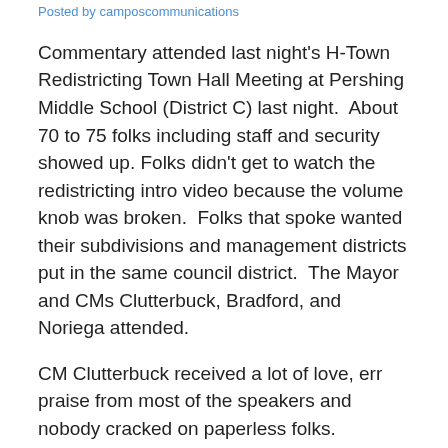Posted by camposcommunications
Commentary attended last night's H-Town Redistricting Town Hall Meeting at Pershing Middle School (District C) last night.  About 70 to 75 folks including staff and security showed up. Folks didn't get to watch the redistricting intro video because the volume knob was broken.  Folks that spoke wanted their subdivisions and management districts put in the same council district.  The Mayor and CMs Clutterbuck, Bradford, and Noriega attended.
CM Clutterbuck received a lot of love, err praise from most of the speakers and nobody cracked on paperless folks. Because of spring break next week, the town hall meetings will resume on Monday, March 21 in District G.
When was the last time the ‘Stros won a game on Opening Day?